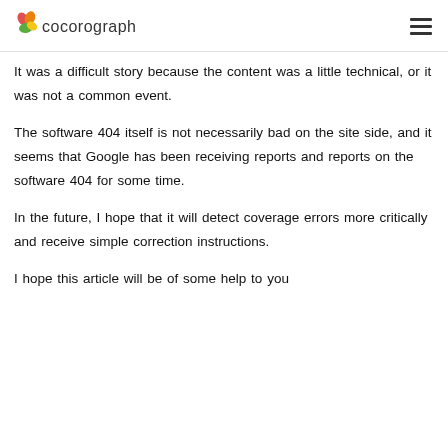cocorograph
It was a difficult story because the content was a little technical, or it was not a common event.
The software 404 itself is not necessarily bad on the site side, and it seems that Google has been receiving reports and reports on the software 404 for some time.
In the future, I hope that it will detect coverage errors more critically and receive simple correction instructions.
I hope this article will be of some help to you.